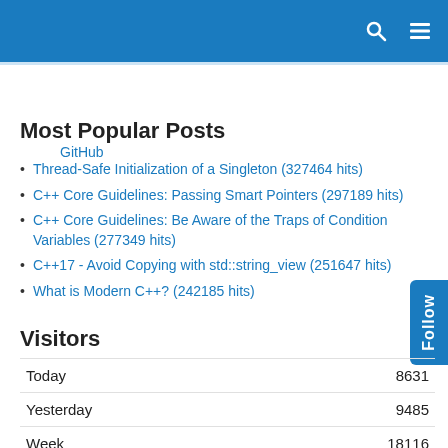GitHub
Most Popular Posts
Thread-Safe Initialization of a Singleton  (327464 hits)
C++ Core Guidelines: Passing Smart Pointers  (297189 hits)
C++ Core Guidelines: Be Aware of the Traps of Condition Variables  (277349 hits)
C++17 - Avoid Copying with std::string_view  (251647 hits)
What is Modern C++?  (242185 hits)
Visitors
|  |  |
| --- | --- |
| Today | 8631 |
| Yesterday | 9485 |
| Week | 18116 |
| Month | 158185 |